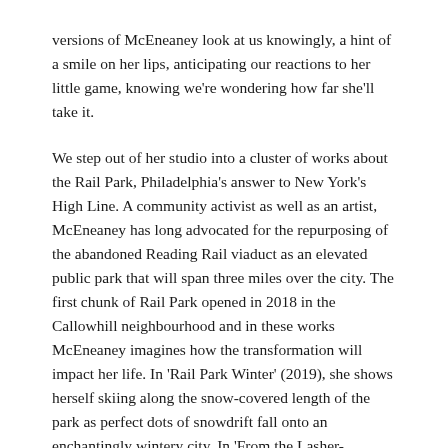versions of McEneaney look at us knowingly, a hint of a smile on her lips, anticipating our reactions to her little game, knowing we're wondering how far she'll take it.
We step out of her studio into a cluster of works about the Rail Park, Philadelphia's answer to New York's High Line. A community activist as well as an artist, McEneaney has long advocated for the repurposing of the abandoned Reading Rail viaduct as an elevated public park that will span three miles over the city. The first chunk of Rail Park opened in 2018 in the Callowhill neighbourhood and in these works McEneaney imagines how the transformation will impact her life. In 'Rail Park Winter' (2019), she shows herself skiing along the snow-covered length of the park as perfect dots of snowdrift fall onto an enchantingly wintery city. In 'From the Lasher-Callowhill Rail Park' (2019), McEneaney envisions the park as an opportunity for respite and solitude in the bustling city. She paints herself and her dog on a walk in the park, the city completely empty but for the second version of McEneaney who sneaks into the composition on the far right, looking down upon